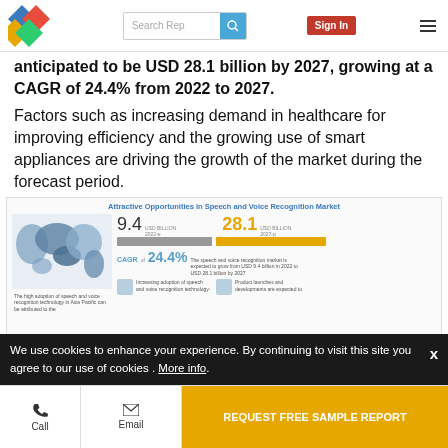Search Rep | Sign In
anticipated to be USD 28.1 billion by 2027, growing at a CAGR of 24.4% from 2022 to 2027.
Factors such as increasing demand in healthcare for improving efficiency and the growing use of smart appliances are driving the growth of the market during the forecast period.
[Figure (infographic): Attractive Opportunities in Speech and Voice Recognition Market infographic showing USD 9.4 billion (2022-e) and USD 28.1 billion (2027-p) with CAGR of 24.4%, world map highlighting Asia Pacific adoption, and icons for product launches and increasing adoption of speech and voice recognition technology.]
We use cookies to enhance your experience. By continuing to visit this site you agree to our use of cookies . More info.
Call | Email | REQUEST FREE SAMPLE REPORT